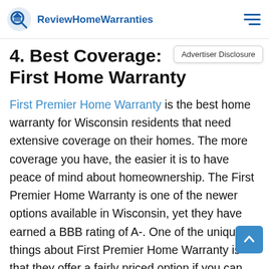ReviewHomeWarranties
4. Best Coverage: First Home Warranty
First Premier Home Warranty is the best home warranty for Wisconsin residents that need extensive coverage on their homes. The more coverage you have, the easier it is to have peace of mind about homeownership. The First Premier Home Warranty is one of the newer options available in Wisconsin, yet they have earned a BBB rating of A-. One of the unique things about First Premier Home Warranty is that they offer a fairly priced option if you can pay for the policy a few years ahead of time. Sometimes the rates are nearly cut in half by paying for a few